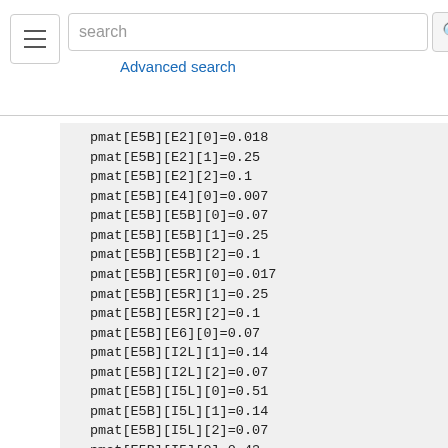search [search button] Advanced search
[Figure (logo): SenseLab logo]
[Figure (logo): MicrocircuitDB logo]
[Figure (logo): ModelDB logo]
pmat[E5B][E2][0]=0.018
pmat[E5B][E2][1]=0.25
pmat[E5B][E2][2]=0.1
pmat[E5B][E4][0]=0.007
pmat[E5B][E5B][0]=0.07
pmat[E5B][E5B][1]=0.25
pmat[E5B][E5B][2]=0.1
pmat[E5B][E5R][0]=0.017
pmat[E5B][E5R][1]=0.25
pmat[E5B][E5R][2]=0.1
pmat[E5B][E6][0]=0.07
pmat[E5B][I2L][1]=0.14
pmat[E5B][I2L][2]=0.07
pmat[E5B][I5L][0]=0.51
pmat[E5B][I5L][1]=0.14
pmat[E5B][I5L][2]=0.07
pmat[E5B][I5][0]=0.43
pmat[E5B][I5][1]=0.14
pmat[E5B][I5][2]=0.07
pmat[E5R][E2][0]=0.022